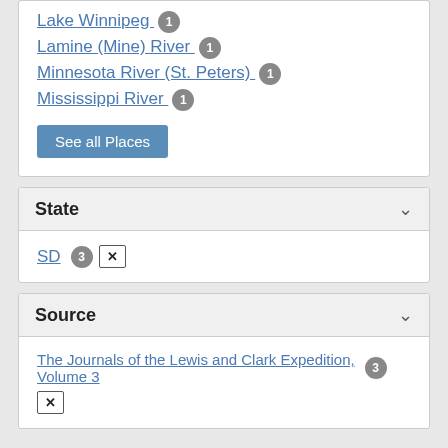Lake Winnipeg 1
Lamine (Mine) River 1
Minnesota River (St. Peters) 1
Mississippi River 1
See all Places
State
SD 3 ✕
Source
The Journals of the Lewis and Clark Expedition, Volume 3 3 ✕